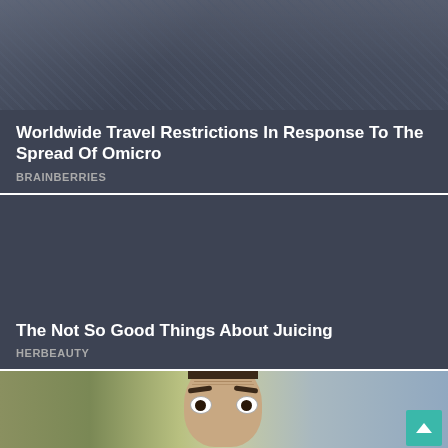[Figure (photo): Dark overlay image card with travel-related background photo, semi-transparent dark tint]
Worldwide Travel Restrictions In Response To The Spread Of Omicro
BRAINBERRIES
[Figure (photo): Dark solid background card with no visible image content]
The Not So Good Things About Juicing
HERBEAUTY
[Figure (photo): Photo of a surprised-looking man with raised eyebrows, light blue/teal background, with back-to-top button overlay]